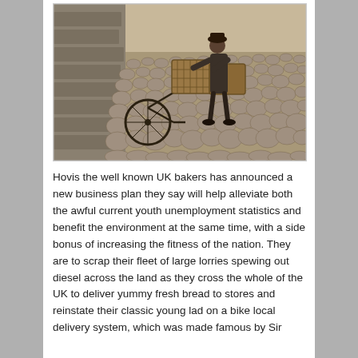[Figure (photo): Black and white / sepia vintage photograph of a young person pushing a delivery bicycle with a large wicker basket on cobblestone streets, with a stone wall visible on the left side.]
Hovis the well known UK bakers has announced a new business plan they say will help alleviate both the awful current youth unemployment statistics and benefit the environment at the same time, with a side bonus of increasing the fitness of the nation. They are to scrap their fleet of large lorries spewing out diesel across the land as they cross the whole of the UK to deliver yummy fresh bread to stores and reinstate their classic young lad on a bike local delivery system, which was made famous by Sir